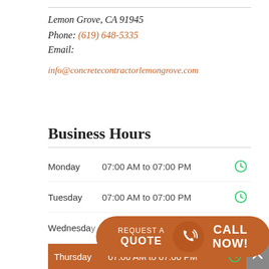Lemon Grove, CA 91945
Phone: (619) 648-5335
Email:
info@concretecontractorlemongrove.com
Business Hours
| Day | Hours |  |
| --- | --- | --- |
| Monday | 07:00 AM to 07:00 PM |  |
| Tuesday | 07:00 AM to 07:00 PM |  |
| Wednesday | 07:00 AM to 07:00 PM |  |
| Thursday | 07:00 AM to 07:00 PM |  |
[Figure (infographic): Call-to-action overlay with two buttons: 'REQUEST A QUOTE' on the left and 'CALL NOW!' on the right, with a phone icon in the middle. Both on a brown/orange rounded background.]